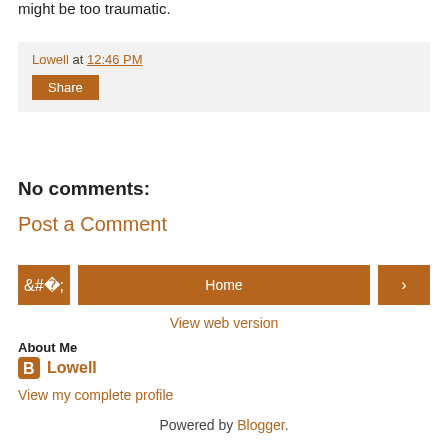might be too traumatic.
Lowell at 12:46 PM
Share
No comments:
Post a Comment
‹ Home ›
View web version
About Me
Lowell
View my complete profile
Powered by Blogger.